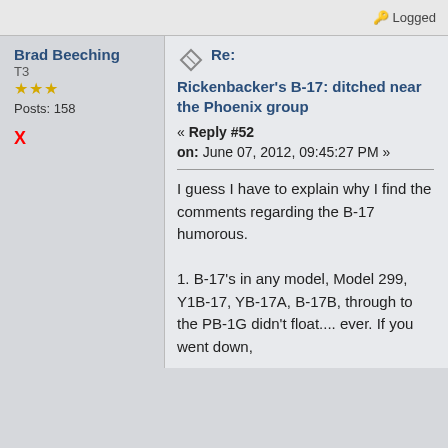Logged
Brad Beeching
T3
★★★
Posts: 158
X
Re:
Rickenbacker's B-17: ditched near the Phoenix group
« Reply #52 on: June 07, 2012, 09:45:27 PM »
I guess I have to explain why I find the comments regarding the B-17 humorous.

1. B-17's in any model, Model 299, Y1B-17, YB-17A, B-17B, through to the PB-1G didn't float.... ever. If you went down,